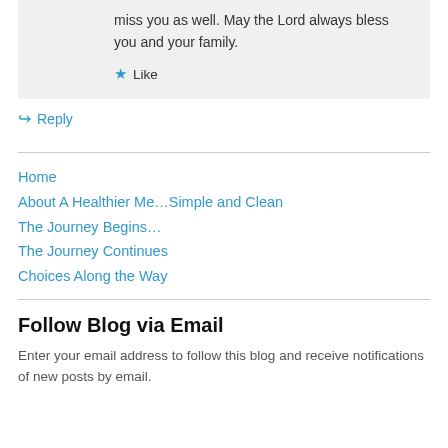miss you as well. May the Lord always bless you and your family.
★ Like
↪ Reply
Home
About A Healthier Me…Simple and Clean
The Journey Begins…
The Journey Continues
Choices Along the Way
Follow Blog via Email
Enter your email address to follow this blog and receive notifications of new posts by email.